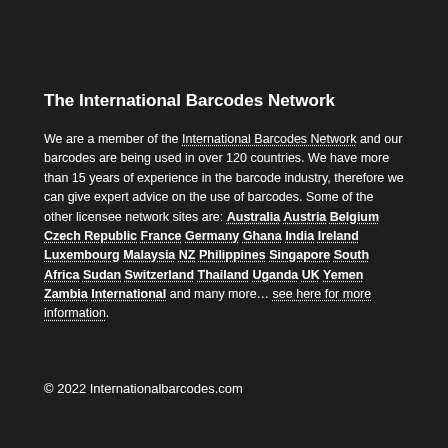The International Barcodes Network
We are a member of the International Barcodes Network and our barcodes are being used in over 120 countries. We have more than 15 years of experience in the barcode industry, therefore we can give expert advice on the use of barcodes. Some of the other licensee network sites are: Australia Austria Belgium Czech Republic France Germany Ghana India Ireland Luxembourg Malaysia NZ Philippines Singapore South Africa Sudan Switzerland Thailand Uganda UK Yemen Zambia International and many more… see here for more information.
© 2022 Internationalbarcodes.com